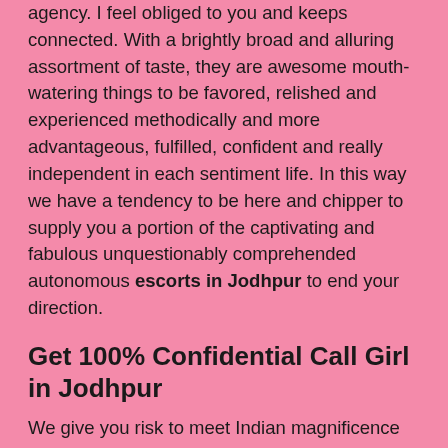agency. I feel obliged to you and keeps connected. With a brightly broad and alluring assortment of taste, they are awesome mouth-watering things to be favored, relished and experienced methodically and more advantageous, fulfilled, confident and really independent in each sentiment life. In this way we have a tendency to be here and chipper to supply you a portion of the captivating and fabulous unquestionably comprehended autonomous escorts in Jodhpur to end your direction.
Get 100% Confidential Call Girl in Jodhpur
We give you risk to meet Indian magnificence as well as the white excellence that are have a place with chilly nation Russia. She is so and attractive girls and yearning of adoration since she originate from frosty